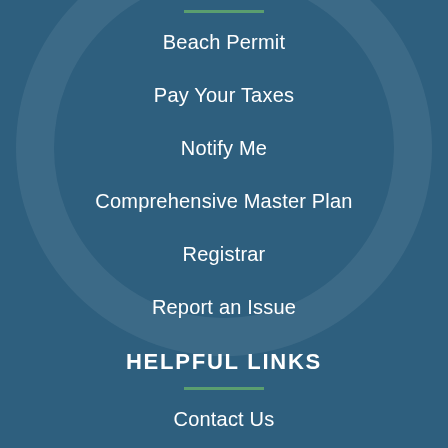Beach Permit
Pay Your Taxes
Notify Me
Comprehensive Master Plan
Registrar
Report an Issue
HELPFUL LINKS
Contact Us
Boards of Trustees
Boards & Committees